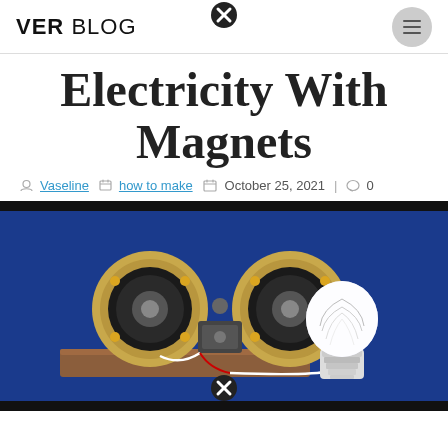VER BLOG
Electricity With Magnets
Vaseline  how to make  October 25, 2021 | 0
[Figure (photo): A DIY electricity generator made with speaker magnets connected to an LED light bulb, assembled on a wooden base against a blue background.]